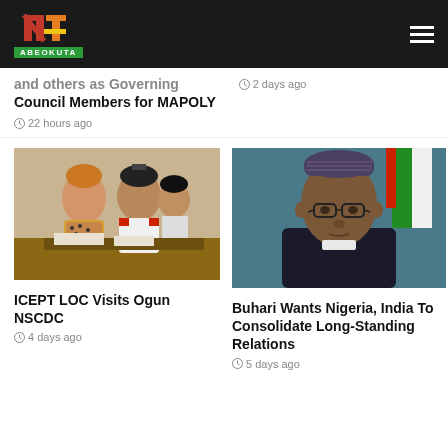[Figure (logo): NTA Abeokuta logo with red/orange/yellow icon and green label bar]
and others as Governing Council Members for MAPOLY
22 hours ago
2 days ago
[Figure (photo): Two people in conversation, one in orange hat and patterned outfit, another in NSCDC uniform at a desk, with a third person in uniform behind them]
ICEPT LOC Visits Ogun NSCDC
4 days ago
[Figure (photo): Portrait of President Muhammadu Buhari in dark traditional attire with patterned cap, Nigerian flag in the background]
Buhari Wants Nigeria, India To Consolidate Long-Standing Relations
5 days ago